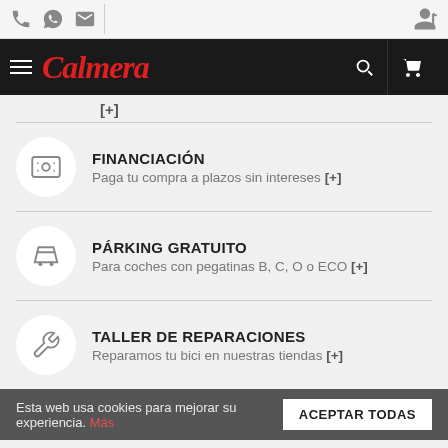Calmera — navigation header with phone, WhatsApp, email icons and user/cart icons
[+]
FINANCIACIÓN — Paga tu compra a plazos sin intereses [+]
PÁRKING GRATUITO — Para coches con pegatinas B, C, O o ECO [+]
TALLER DE REPARACIONES — Reparamos tu bici en nuestras tiendas [+]
Esta web usa cookies para mejorar su experiencia. Más
TAX FREE — Devolución de impuestos para compras fuera de la UE [+]